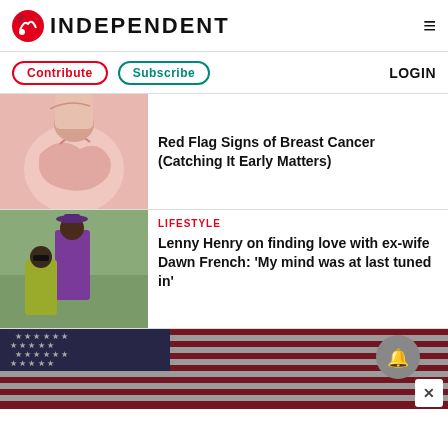INDEPENDENT
Contribute | Subscribe | LOGIN
[Figure (photo): Person in pink sweater touching chest area - breast cancer awareness image]
Red Flag Signs of Breast Cancer (Catching It Early Matters)
[Figure (photo): Lenny Henry and Dawn French posing outdoors, he in purple suit and hat, she in yellow dress with sunglasses]
LIFESTYLE
Lenny Henry on finding love with ex-wife Dawn French: 'My mind was at last tuned in'
[Figure (photo): American flag close-up with stars and stripes, notification bell icon overlay and close button]